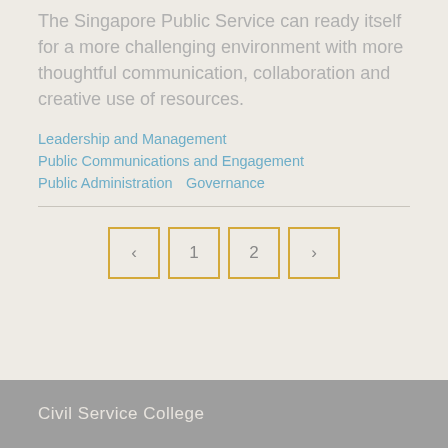The Singapore Public Service can ready itself for a more challenging environment with more thoughtful communication, collaboration and creative use of resources.
Leadership and Management
Public Communications and Engagement
Public Administration    Governance
[Figure (other): Pagination controls with previous arrow, page 1, page 2, and next arrow buttons styled with golden/yellow borders]
Civil Service College